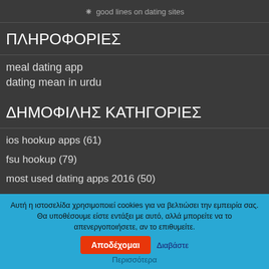good lines on dating sites
ΠΛΗΡΟΦΟΡΙΕΣ
meal dating app
dating mean in urdu
ΔΗΜΟΦΙΛΗΣ ΚΑΤΗΓΟΡΙΕΣ
ios hookup apps (61)
fsu hookup (79)
most used dating apps 2016 (50)
dating site 50 and older (265)
Αυτή η ιστοσελίδα χρησιμοποιεί cookies για να βελτιώσει την εμπειρία σας. Θα υποθέσουμε είστε εντάξει με αυτό, αλλά μπορείτε να το απενεργοποιήσετε, αν το επιθυμείτε. Αποδέχομαι Διαβάστε Περισσότερα